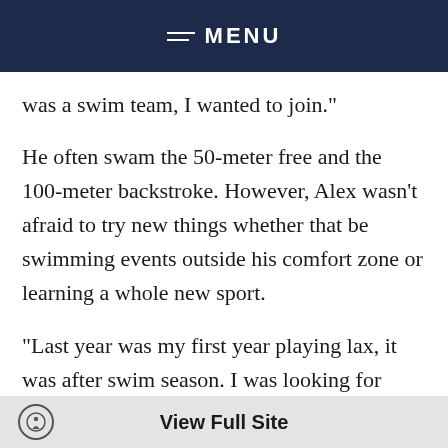MENU
was a swim team, I wanted to join."
He often swam the 50-meter free and the 100-meter backstroke. However, Alex wasn't afraid to try new things whether that be swimming events outside his comfort zone or learning a whole new sport.
"Last year was my first year playing lax, it was after swim season. I was looking for something else to do; my buddy Jorge was trying to play a
View Full Site